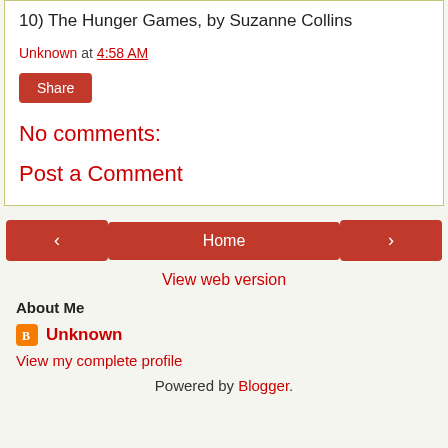10) The Hunger Games, by Suzanne Collins
Unknown at 4:58 AM
Share
No comments:
Post a Comment
‹  Home  ›
View web version
About Me
Unknown
View my complete profile
Powered by Blogger.